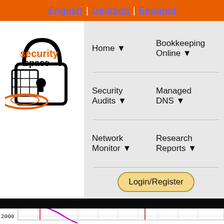English | Deutsch | Español
[Figure (logo): Security Space logo — padlock with orbiting rings and text 'security space' in orange and black]
Home ▼
Bookkeeping Online ▼
Security Audits ▼
Managed DNS ▼
Network Monitor ▼
Research Reports ▼
Login/Register
[Figure (continuous-plot): Historical Server Counts - Across All Domains chart, partial view. Y-axis shows values 2000, 3000, 4000, 5000. A magenta/pink curve descends sharply from ~3000. Red vertical lines mark intervals. Fine grid visible.]